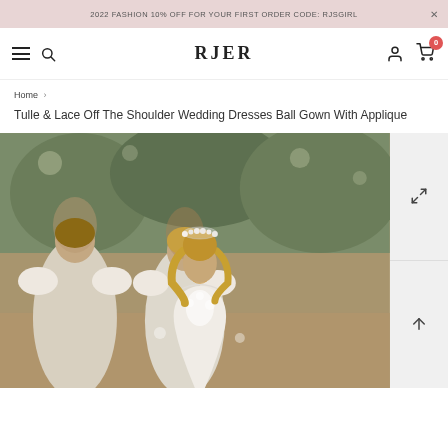2022 FASHION 10% OFF FOR YOUR FIRST ORDER CODE: RJSGIRL
[Figure (logo): RJER brand logo with hamburger menu, search icon, user icon, and cart with badge 0]
Home > Tulle & Lace Off The Shoulder Wedding Dresses Ball Gown With Applique
Tulle & Lace Off The Shoulder Wedding Dresses Ball Gown With Applique
[Figure (photo): A woman in a white off-shoulder wedding dress with lace applique wearing a floral crown, with bridesmaids in white dresses behind her in a garden setting]